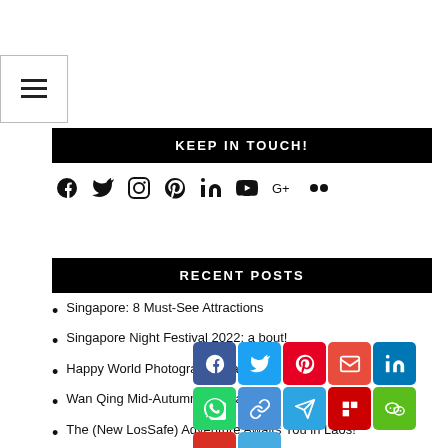[Figure (other): Hamburger menu button icon (three horizontal lines) in a bordered box]
KEEP IN TOUCH!
[Figure (other): Social media icons row: Facebook, Twitter, Instagram, Pinterest, LinkedIn, YouTube, Google+, Flickr]
RECENT POSTS
Singapore: 8 Must-See Attractions
Singapore Night Festival 2022: a bout!
Happy World Photography Day 2022!
Wan Qing Mid-Autumn Festival 2022
The (New LosSafe) Adventure Awaits You in Laos!
[Figure (other): Social sharing overlay buttons: Facebook, Twitter, Pinterest, Email, LinkedIn, WhatsApp, Copy, Telegram, Flipboard, WeChat, Gmail, More]